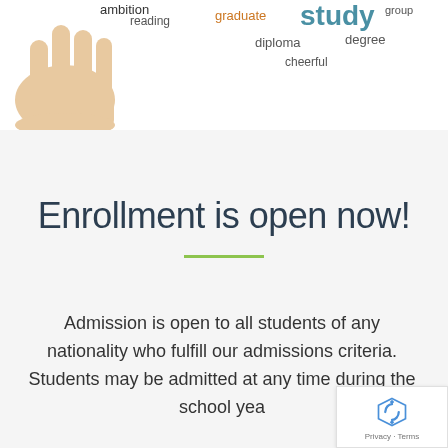[Figure (illustration): Word cloud with education-related words (ambition, reading, graduate, study, diploma, degree, group, cheerful) displayed above a hand illustration]
Enrollment is open now!
Admission is open to all students of any nationality who fulfill our admissions criteria. Students may be admitted at any time during the school yea...